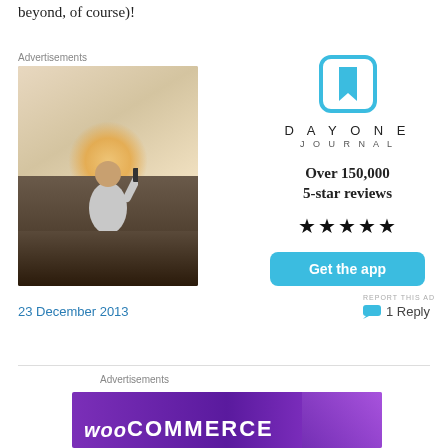beyond, of course)!
Advertisements
[Figure (photo): Person sitting on rocks photographing a sunset, seen from behind, wearing white t-shirt]
[Figure (infographic): Day One Journal app advertisement with blue bookmark icon, app name, Over 150,000 5-star reviews, five stars, and Get the app button]
23 December 2013
1 Reply
Advertisements
[Figure (infographic): WooCommerce advertisement banner with purple background]